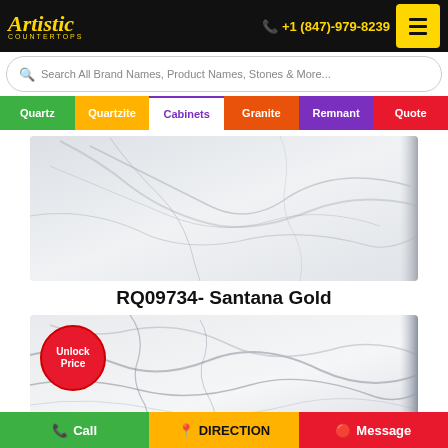Artistic Countertops — +1 (847)-979-8239
Search All Brand Names, Product Names, Stones & More...
Quartz | Quartzite | Cabinets | Granite | Remnant | Quote
[Figure (photo): Marble/stone countertop slab – RQ09734 Santana Gold, light grey/white with subtle veining]
RQ09734- Santana Gold
[Figure (photo): White marble-look countertop slab with grey veining, with red Unlock Price badge in top-left]
Call | DIRECTION | Message